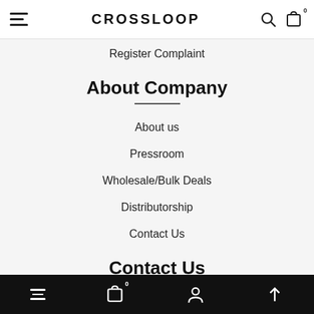CrossLoop navigation header with hamburger menu, logo CROSSLOOP, search icon, and cart icon
Register Complaint
About Company
About us
Pressroom
Wholesale/Bulk Deals
Distributorship
Contact Us
Contact Us
Bottom navigation bar with hamburger, cart, account, and scroll-to-top icons